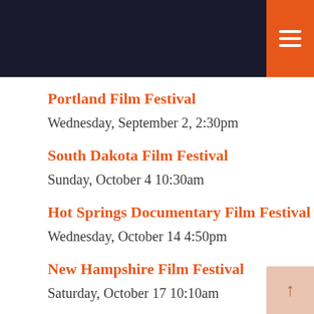Portland Film Festival
Wednesday, September 2, 2:30pm
South Dakota Film Festival
Sunday, October 4 10:30am
Hot Springs Documentary Film Festival
Wednesday, October 14 4:50pm
New Hampshire Film Festival
Saturday, October 17 10:10am